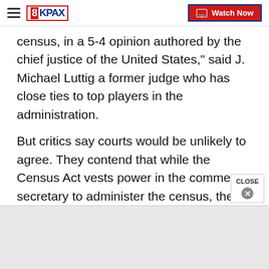8KPAX | Watch Now
census, in a 5-4 opinion authored by the chief justice of the United States," said J. Michael Luttig a former judge who has close ties to top players in the administration.
But critics say courts would be unlikely to agree. They contend that while the Census Act vests power in the commerce secretary to administer the census, the President has no constitutional authority to modify it.
The White House said late Thursday that the President was “looking at every option.”